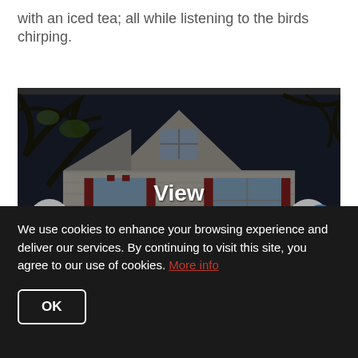with an iced tea; all while listening to the birds chirping.
[Figure (photo): Exterior photo of a two-story white house with red shutters and dark sky/dusk lighting, with tree branches visible in the foreground. Overlay text reads 'View 28 Photos'. Left and right navigation arrows visible, plus an accessibility icon on the right.]
We use cookies to enhance your browsing experience and deliver our services. By continuing to visit this site, you agree to our use of cookies. More info
OK